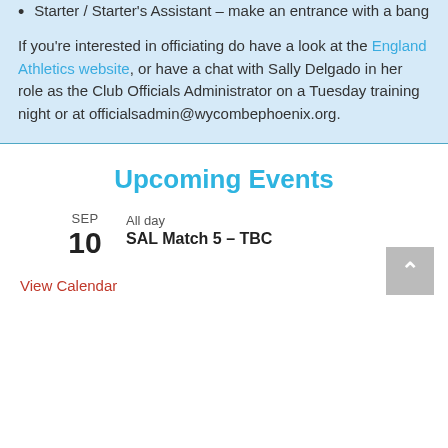Starter / Starter's Assistant – make an entrance with a bang
If you're interested in officiating do have a look at the England Athletics website, or have a chat with Sally Delgado in her role as the Club Officials Administrator on a Tuesday training night or at officialsadmin@wycombephoenix.org.
Upcoming Events
SEP 10  All day  SAL Match 5 – TBC
View Calendar